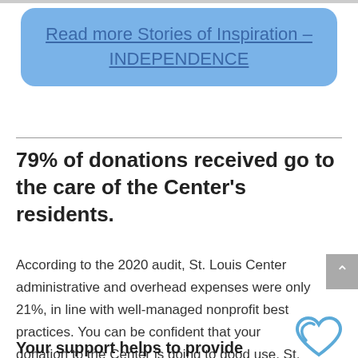[Figure (other): Blue rounded rectangle button with link text 'Read more Stories of Inspiration – INDEPENDENCE']
79% of donations received go to the care of the Center's residents.
According to the 2020 audit, St. Louis Center administrative and overhead expenses were only 21%, in line with well-managed nonprofit best practices. You can be confident that your donation to the Center is going to good use. St. Louis Center is a 501(c)(3) nonprofit organization, Federal Tax ID: 38-6038121.
Your support helps to provide